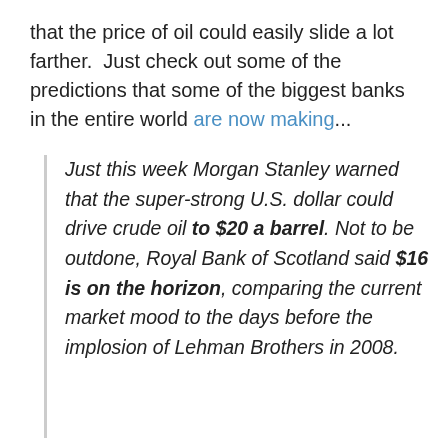that the price of oil could easily slide a lot farther.  Just check out some of the predictions that some of the biggest banks in the entire world are now making...
Just this week Morgan Stanley warned that the super-strong U.S. dollar could drive crude oil to $20 a barrel. Not to be outdone, Royal Bank of Scotland said $16 is on the horizon, comparing the current market mood to the days before the implosion of Lehman Brothers in 2008.